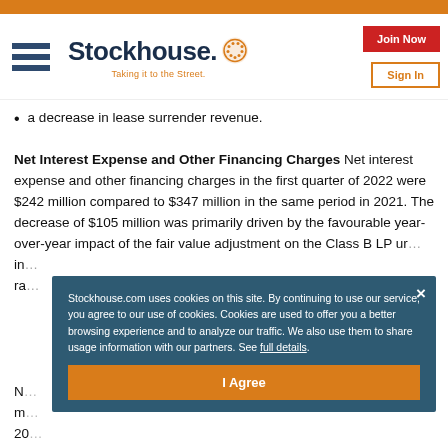Stockhouse - Taking it to the Street.
a decrease in lease surrender revenue.
Net Interest Expense and Other Financing Charges Net interest expense and other financing charges in the first quarter of 2022 were $242 million compared to $347 million in the same period in 2021. The decrease of $105 million was primarily driven by the favourable year-over-year impact of the fair value adjustment on the Class B LP ur... in... ra...
N... 7 m... 20...
Stockhouse.com uses cookies on this site. By continuing to use our service, you agree to our use of cookies. Cookies are used to offer you a better browsing experience and to analyze our traffic. We also use them to share usage information with our partners. See full details.